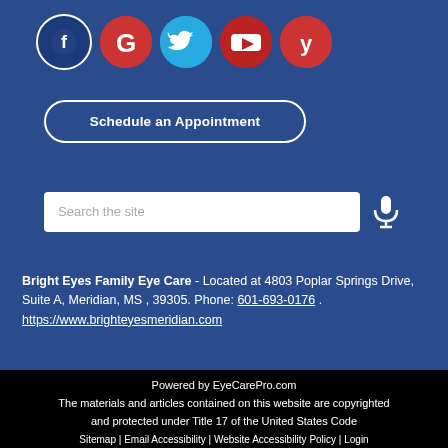[Figure (illustration): Row of five social media icon circles: Facebook (dark blue), Google (red), Twitter (cyan), YouTube (red), Yelp (red)]
Schedule an Appointment
[Figure (other): Search bar with placeholder text 'Search the site' and a microphone icon]
Bright Eyes Family Eye Care - Located at 4803 Poplar Springs Drive, Suite A, Meridian, MS , 39305. Phone: 601-693-0176 . https://www.brighteyesmeridian.com
Powered by EyeCarePro.com
The materials and articles contained on this website are copyrighted and protected under Title 17 of the United States Code
Sitemap | Email Accessibility | Website Accessibility Policy | Login